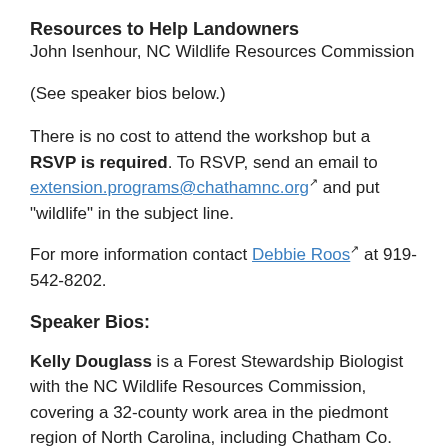Resources to Help Landowners
John Isenhour, NC Wildlife Resources Commission
(See speaker bios below.)
There is no cost to attend the workshop but a RSVP is required. To RSVP, send an email to extension.programs@chathamnc.org and put "wildlife" in the subject line.
For more information contact Debbie Roos at 919-542-8202.
Speaker Bios:
Kelly Douglass is a Forest Stewardship Biologist with the NC Wildlife Resources Commission, covering a 32-county work area in the piedmont region of North Carolina, including Chatham Co. Before transferring